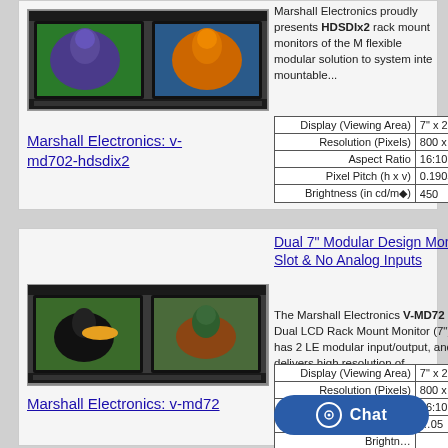[Figure (photo): Dual 7-inch rack mount monitor showing two bird images (parrot and colorful bird) side by side in a rack-mounted unit]
Marshall Electronics proudly presents HDSDIx2 rack mount monitors of the M flexible modular solution to system inte mountable...
| Display (Viewing Area) | 7" x 2 |
| --- | --- |
| Resolution (Pixels) | 800 x 4 |
| Aspect Ratio | 16:10 |
| Pixel Pitch (h x v) | 0.1905 |
| Brightness (in cd/m◆) | 450 |
Marshall Electronics: v-md702-hdsdix2
[Figure (photo): Dual 7-inch rack mount monitor showing two bird images (toucan and duck) side by side in a rack-mounted unit]
Dual 7" Modular Design Mon Slot & No Analog Inputs
The Marshall Electronics V-MD72 Dual LCD Rack Mount Monitor (7") has 2 LE modular input/output, and delivers high resolution of...
| Display (Viewing Area) | 7" x 2 |
| --- | --- |
| Resolution (Pixels) | 800 x 4 |
| Aspect Ratio | 16:10 |
| Pixel Pitch (h x v) | ...05 |
| Brightness | ... |
Marshall Electronics: v-md72